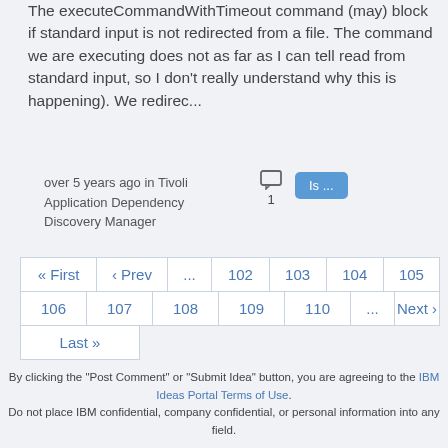The executeCommandWithTimeout command (may) block if standard input is not redirected from a file. The command we are executing does not as far as I can tell read from standard input, so I don't really understand why this is happening). We redirec...
over 5 years ago in Tivoli Application Dependency Discovery Manager
1
Is ...
| « First | ‹ Prev | ... | 102 | 103 | 104 | 105 |
| 106 | 107 | 108 | 109 | 110 | ... | Next › |
| Last » |
By clicking the "Post Comment" or "Submit Idea" button, you are agreeing to the IBM Ideas Portal Terms of Use. Do not place IBM confidential, company confidential, or personal information into any field.